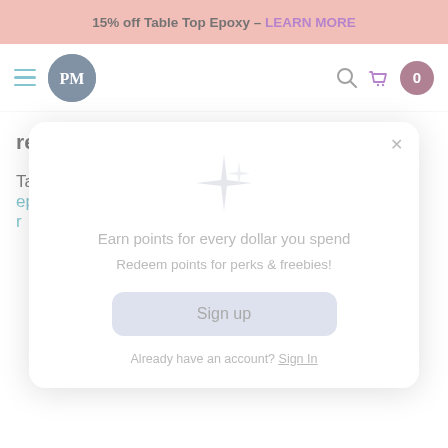15% off Table Top Epoxy – LEARN MORE
[Figure (screenshot): Navigation bar with hamburger menu, PM logo circle, search icon, cart icon, and cart count badge showing 0]
read more >
Tags: news , success story , epoxy resin , tabletop epoxy r
[Figure (infographic): Modal popup with sparkle icon, text 'Earn points for every dollar you spend', 'Redeem points for perks & freebies!', a Sign up button, and 'Already have an account? Sign In']